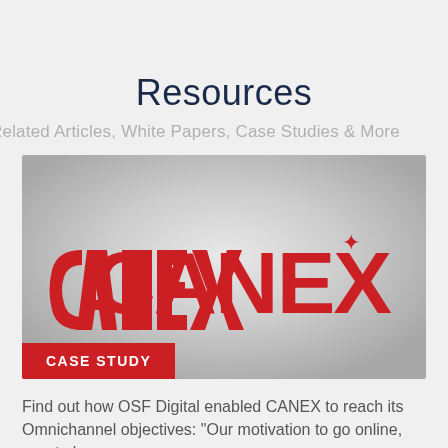[Figure (illustration): Teal decorative header bar with rounded elements]
Resources
Related Articles, White Papers, Case Studies & More
[Figure (logo): CANEX logo on silver gradient background with CASE STUDY red badge overlay]
Find out how OSF Digital enabled CANEX to reach its Omnichannel objectives: "Our motivation to go online, was to become more